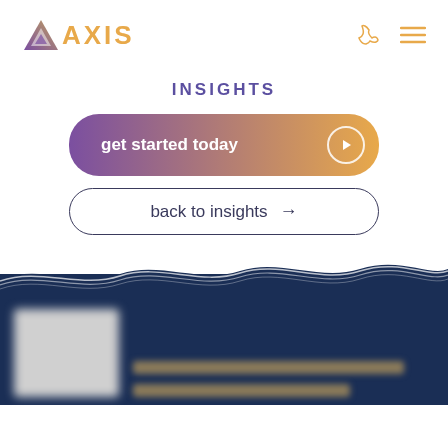[Figure (logo): AXIS Insurance logo with purple triangle icon and golden text]
INSIGHTS
[Figure (other): get started today button with gradient purple to orange and play icon]
[Figure (other): back to insights button with arrow]
[Figure (illustration): Wave graphic transitioning to dark navy blue background with blurred content card below]